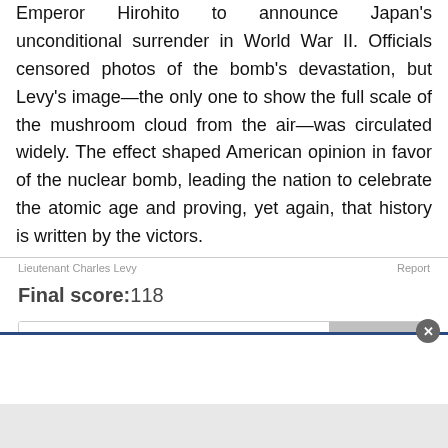Emperor Hirohito to announce Japan's unconditional surrender in World War II. Officials censored photos of the bomb's devastation, but Levy's image—the only one to show the full scale of the mushroom cloud from the air—was circulated widely. The effect shaped American opinion in favor of the nuclear bomb, leading the nation to celebrate the atomic age and proving, yet again, that history is written by the victors.
Lieutenant Charles Levy
Report
Final score:118
Add a comment...
POST